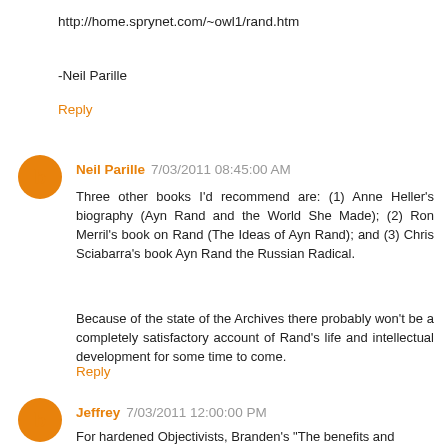http://home.sprynet.com/~owl1/rand.htm
-Neil Parille
Reply
Neil Parille 7/03/2011 08:45:00 AM
Three other books I'd recommend are: (1) Anne Heller's biography (Ayn Rand and the World She Made); (2) Ron Merril's book on Rand (The Ideas of Ayn Rand); and (3) Chris Sciabarra's book Ayn Rand the Russian Radical.
Because of the state of the Archives there probably won't be a completely satisfactory account of Rand's life and intellectual development for some time to come.
Reply
Jeffrey 7/03/2011 12:00:00 PM
For hardened Objectivists, Branden's "The benefits and